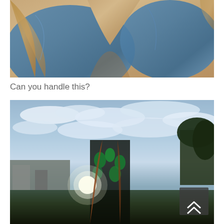[Figure (photo): Close-up photo of a woman in a blue top, cropped to show torso and lower face area with long hair]
Can you handle this?
[Figure (photo): Photo of a woman in a cannabis-leaf patterned top outdoors against a dramatic cloudy sky, with trees and a building in the background; a scroll-to-top button appears in the lower right corner]